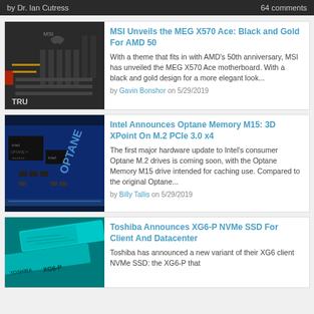by Dr. Ian Cutress | 64 comments
MSI Unveils the MEG X570 Ace: Black and Gold For AMD 50
With a theme that fits in with AMD's 50th anniversary, MSI has unveiled the MEG X570 Ace motherboard. With a black and gold design for a more elegant look...
by Gavin Bonshor on 5/29/2019
Intel Announces Optane Memory M15: 3D XPoint On M.2 PCIe 3.0 x4
The first major hardware update to Intel's consumer Optane M.2 drives is coming soon, with the Optane Memory M15 drive intended for caching use. Compared to the original Optane...
by Billy Tallis on 5/29/2019
Toshiba Announces XG6-P NVMe SSD For Client And Datacenter
Toshiba has announced a new variant of their XG6 client NVMe SSD: the XG6-P that